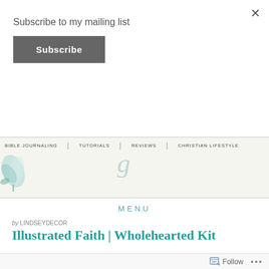×
Subscribe to my mailing list
Subscribe
[Figure (screenshot): Website navigation bar with flower illustration on left, cursive script letter in center, and nav links: BIBLE JOURNALING | TUTORIALS | REVIEWS | CHRISTIAN LIFESTYLE]
MENU
by LINDSEYDECOR
Illustrated Faith | Wholehearted Kit
Follow ...